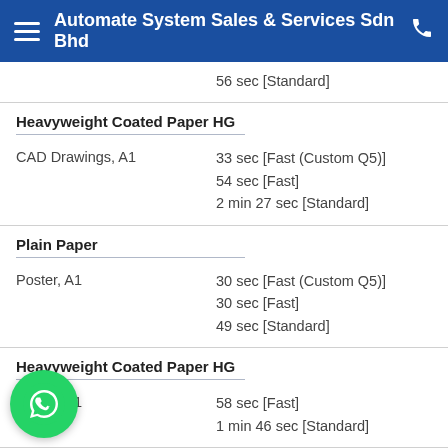Automate System Sales & Services Sdn Bhd
56 sec [Standard]
Heavyweight Coated Paper HG
|  |  |
| --- | --- |
| CAD Drawings, A1 | 33 sec [Fast (Custom Q5)]
54 sec [Fast]
2 min 27 sec [Standard] |
Plain Paper
|  |  |
| --- | --- |
| Poster, A1 | 30 sec [Fast (Custom Q5)]
30 sec [Fast]
49 sec [Standard] |
Heavyweight Coated Paper HG
|  |  |
| --- | --- |
| Poster, A1 | 58 sec [Fast]
1 min 46 sec [Standard] |
Glossy Photo Paper HG 170
|  |  |
| --- | --- |
| P | 3 min 39 sec [Standard]
5 min 34 sec [Fine] |
[Figure (logo): WhatsApp floating button icon]